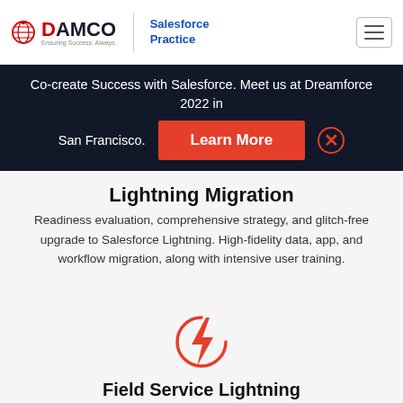DAMCO Salesforce Practice
Co-create Success with Salesforce. Meet us at Dreamforce 2022 in San Francisco. Learn More
Lightning Migration
Readiness evaluation, comprehensive strategy, and glitch-free upgrade to Salesforce Lightning. High-fidelity data, app, and workflow migration, along with intensive user training.
[Figure (illustration): Red lightning bolt icon inside a partial circle arc, representing Field Service Lightning]
Field Service Lightning